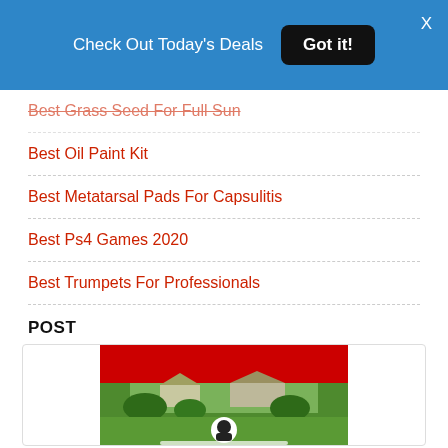Check Out Today's Deals   Got it!   X
Best Grass Seed For Full Sun
Best Oil Paint Kit
Best Metatarsal Pads For Capsulitis
Best Ps4 Games 2020
Best Trumpets For Professionals
POST
[Figure (photo): Product image with a red banner at top, a garden/lawn scene below, and the Jonathan Green logo at the bottom center.]